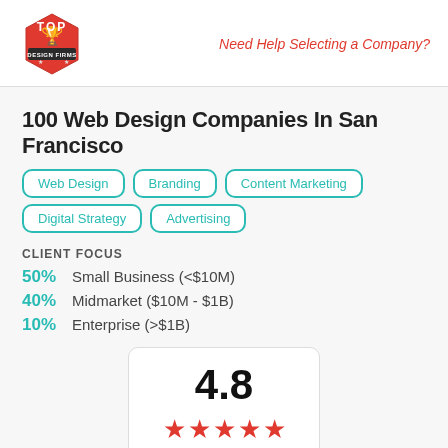Top Design Firms logo | Need Help Selecting a Company?
100 Web Design Companies In San Francisco
Web Design
Branding
Content Marketing
Digital Strategy
Advertising
CLIENT FOCUS
50% Small Business (<$10M)
40% Midmarket ($10M - $1B)
10% Enterprise (>$1B)
4.8
4 Clutch Reviews